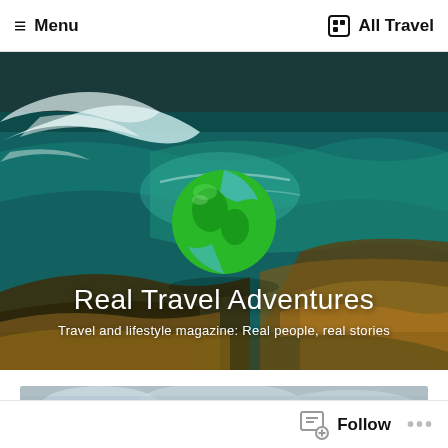≡ Menu    ▣ All Travel
[Figure (photo): Hero banner showing ocean waves with white foam crashing, green mossy globe/earth floating above the water, coastal vegetation in foreground. Overlaid with title text 'Real Travel Adventures' and subtitle 'Travel and lifestyle magazine: Real people, real stories'.]
Real Travel Adventures
Travel and lifestyle magazine: Real people, real stories
[Figure (photo): Partial view of a landscape photo with cloudy sky, showing the top portion of a second article image.]
Follow   ...